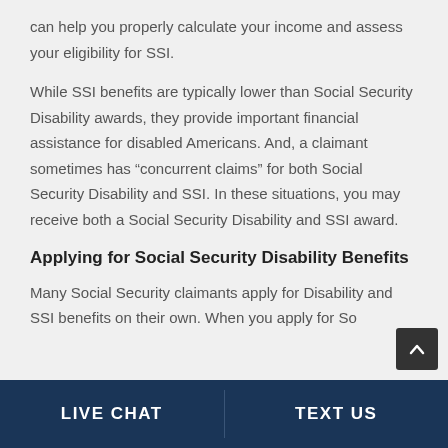can help you properly calculate your income and assess your eligibility for SSI.
While SSI benefits are typically lower than Social Security Disability awards, they provide important financial assistance for disabled Americans. And, a claimant sometimes has “concurrent claims” for both Social Security Disability and SSI. In these situations, you may receive both a Social Security Disability and SSI award.
Applying for Social Security Disability Benefits
Many Social Security claimants apply for Disability and SSI benefits on their own. When you apply for So...
LIVE CHAT | TEXT US